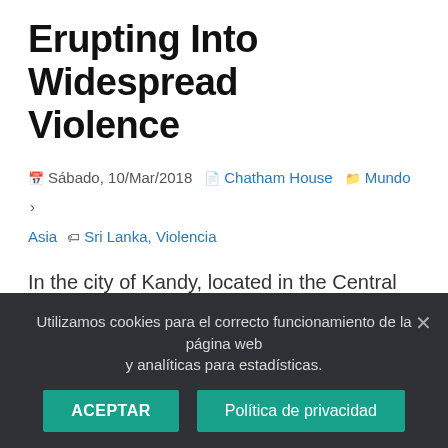Erupting Into Widespread Violence
Sábado, 10/Mar/2018  Chatham House  Mundo › Asia  Sri Lanka, Violencia
In the city of Kandy, located in the Central Province of Sri Lanka, recent attacks against Muslims by Sinhala Buddhist militants have raised fears of increased communal violence. Social media images have shown the scale of damage to Muslim neighbourhoods, with arson attacks and vandalism of Muslim-owned stores and mosques. In response the government declared a
Utilizamos cookies para el correcto funcionamiento de la página web y analíticas para estadísticas.